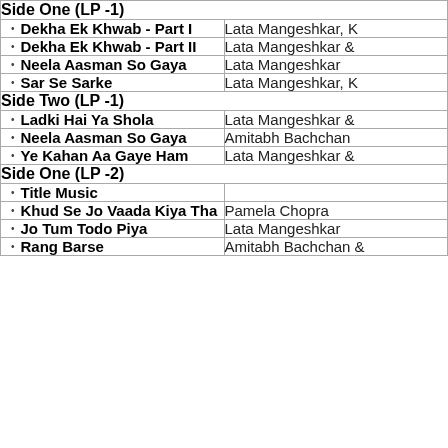| Side One (LP -1) |  |
| • Dekha Ek Khwab - Part I | Lata Mangeshkar, K |
| • Dekha Ek Khwab - Part II | Lata Mangeshkar & |
| • Neela Aasman So Gaya | Lata Mangeshkar |
| • Sar Se Sarke | Lata Mangeshkar, K |
| Side Two  (LP -1) |  |
| • Ladki Hai Ya Shola | Lata Mangeshkar & |
| • Neela Aasman So Gaya | Amitabh Bachchan |
| • Ye Kahan Aa Gaye Ham | Lata Mangeshkar & |
| Side One (LP -2) |  |
| • Title Music |  |
| • Khud Se Jo Vaada Kiya Tha | Pamela Chopra |
| • Jo Tum Todo Piya | Lata Mangeshkar |
| • Rang Barse | Amitabh Bachchan & |